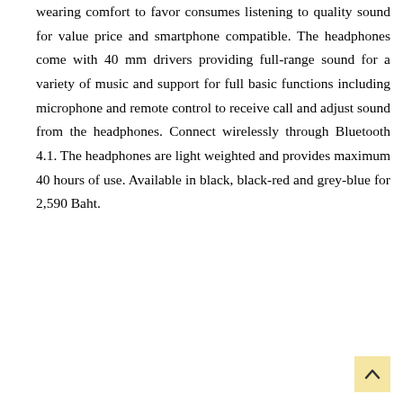wearing comfort to favor consumes listening to quality sound for value price and smartphone compatible. The headphones come with 40 mm drivers providing full-range sound for a variety of music and support for full basic functions including microphone and remote control to receive call and adjust sound from the headphones. Connect wirelessly through Bluetooth 4.1. The headphones are light weighted and provides maximum 40 hours of use. Available in black, black-red and grey-blue for 2,590 Baht.
[Figure (other): A back-to-top button with an upward arrow on a yellow/cream background, positioned in the bottom right corner.]